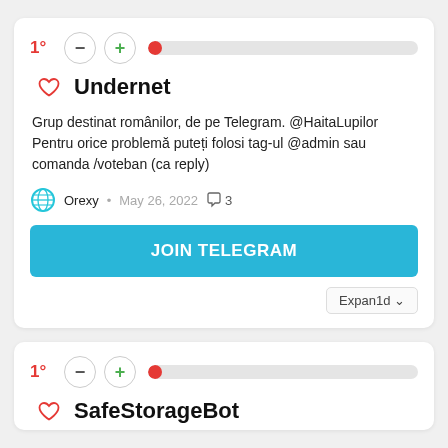1°
Undernet
Grup destinat românilor, de pe Telegram. @HaitaLupilor Pentru orice problemă puteți folosi tag-ul @admin sau comanda /voteban (ca reply)
Orexy · May 26, 2022 · 3
JOIN TELEGRAM
Expand↓
1°
SafeStorageBot